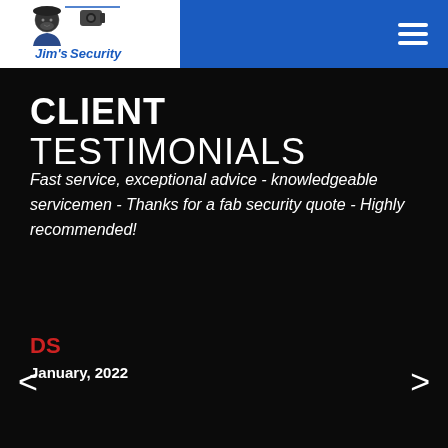[Figure (logo): Jim's Security logo with cartoon man illustration in white box, blue nav bar with hamburger menu icon]
CLIENT TESTIMONIALS
Fast service, exceptional advice - knowledgeable servicemen - Thanks for a fab security quote - Highly recommended!
DS
January, 2022